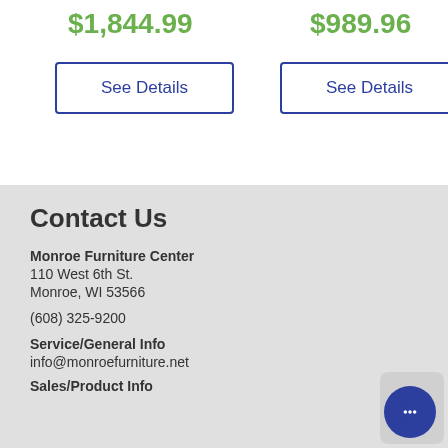$1,844.99
$989.96
See Details
See Details
Contact Us
Monroe Furniture Center
110 West 6th St.
Monroe, WI 53566
(608) 325-9200
Service/General Info
info@monroefurniture.net
Sales/Product Info